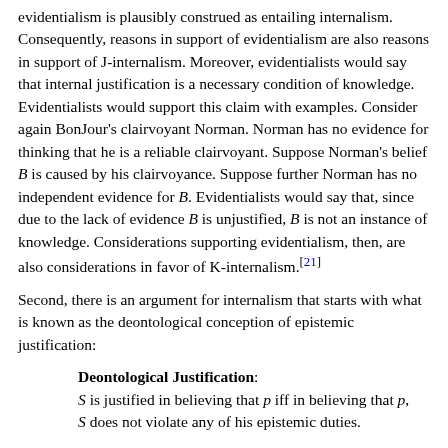evidentialism is plausibly construed as entailing internalism. Consequently, reasons in support of evidentialism are also reasons in support of J-internalism. Moreover, evidentialists would say that internal justification is a necessary condition of knowledge. Evidentialists would support this claim with examples. Consider again BonJour's clairvoyant Norman. Norman has no evidence for thinking that he is a reliable clairvoyant. Suppose Norman's belief B is caused by his clairvoyance. Suppose further Norman has no independent evidence for B. Evidentialists would say that, since due to the lack of evidence B is unjustified, B is not an instance of knowledge. Considerations supporting evidentialism, then, are also considerations in favor of K-internalism.[21]
Second, there is an argument for internalism that starts with what is known as the deontological conception of epistemic justification:
Deontological Justification: S is justified in believing that p iff in believing that p, S does not violate any of his epistemic duties.
The concept of duty employed here must not be confused with ethical or prudential duty. The type of duty in question is specifically epistemic.[22] What exactly epistemic duties are is a matter of controversy. A fairly uncontroversial starting point is to say that epistemic duties are those that arise in the pursuit of truth.